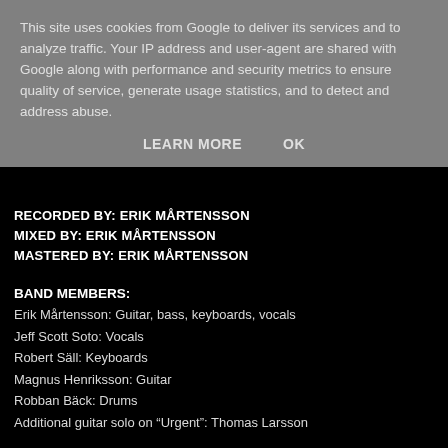This site uses cookies from Google to deliver its services and to analyze traffic. Your IP address and user-agent are shared with Google along with performance and security metrics to ensure quality of service, generate usage statistics, and to detect and address abuse.
LEARN MORE   OK
RECORDED BY: ERIK MÅRTENSSON
MIXED BY: ERIK MÅRTENSSON
MASTERED BY: ERIK MÅRTENSSON
BAND MEMBERS:
Erik Mårtensson: Guitar, bass, keyboards, vocals
Jeff Scott Soto: Vocals
Robert Säll: Keyboards
Magnus Henriksson: Guitar
Robban Bäck: Drums
Additional guitar solo on “Urgent”: Thomas Larsson